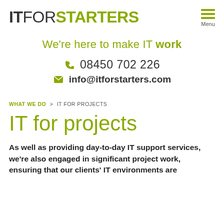ITFORSTARTERS | Menu
We're here to make IT work
08450 702 226
info@itforstarters.com
WHAT WE DO > IT FOR PROJECTS
IT for projects
As well as providing day-to-day IT support services, we're also engaged in significant project work, ensuring that our clients' IT environments are